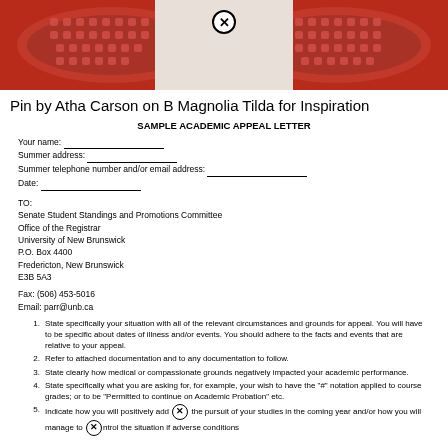[Figure (photo): Photo of red perforated shoe soles on a white background, with a close/remove button overlay at the top center]
Pin by Atha Carson on B Magnolia Tilda for Inspiration
SAMPLE ACADEMIC APPEAL LETTER
Your name: ___________________
Summer address: _______________
Summer telephone number and/or email address: _____________________
Date: ____________________
TO:
Senate Student Standings and Promotions Committee
Office of the Registrar
University of New Brunswick
P.O. Box 4400
Fredericton, New Brunswick
E3B 5A3
Fax: (506) 453-5016
Email: parr@unb.ca
State specifically your situation with all of the relevant circumstances and grounds for appeal. You will have to be specific about dates of illness and/or events. You should adhere to the facts and events that are relative to your appeal.
Refer to attached documentation and to any documentation to follow.
State clearly how medical or compassionate grounds negatively impacted your academic performance.
State specifically what you are asking for, for example, your wish to have the "#" notation applied to course grades; or to be "Permitted to continue on Academic Probation" etc.
Indicate how you will positively add [close button] the pursuit of your studies in the coming year and/or how you will manage to [close button] ntrol the situation if adverse conditions